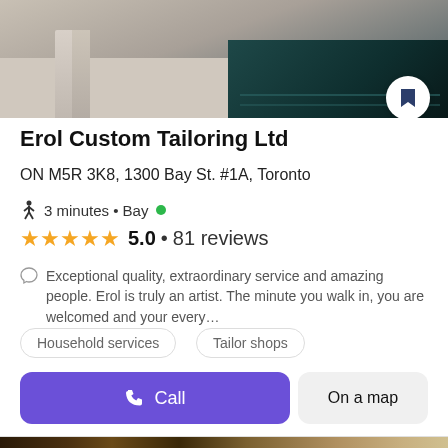[Figure (photo): Top portion showing a person's legs near a pool area, partially cropped]
Erol Custom Tailoring Ltd
ON M5R 3K8, 1300 Bay St. #1A, Toronto
3 minutes • Bay •
5.0 • 81 reviews
Exceptional quality, extraordinary service and amazing people. Erol is truly an artist. The minute you walk in, you are welcomed and your every…
Household services
Tailor shops
Call
On a map
[Figure (photo): Bottom strip showing a workspace with a laptop, smartphone, headphones, and Hypebeast magazine on a wooden desk]